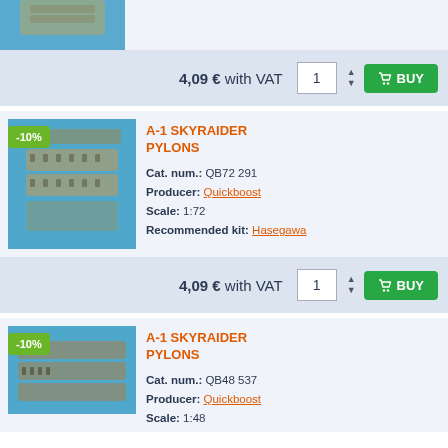[Figure (photo): Partial view of a model kit product image on blue background (top-cropped)]
4,09 € with VAT
BUY
A-1 SKYRAIDER PYLONS
Cat. num.: QB72 291
Producer: Quickboost
Scale: 1:72
Recommended kit: Hasegawa
[Figure (photo): Model kit resin pylons on blue background with -10% discount badge]
4,09 € with VAT
BUY
A-1 SKYRAIDER PYLONS
Cat. num.: QB48 537
Producer: Quickboost
Scale: 1:48
[Figure (photo): Partial view of second model kit product on blue background with -10% discount badge]